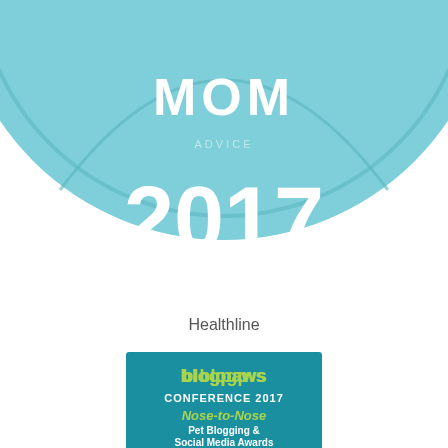[Figure (logo): Circular badge with teal/light blue background showing 'MOM' in white bold text and '2017' in large white bold text. Inner ring detail visible. Partially cropped at top.]
Healthline
[Figure (logo): BlogPaws Conference 2017 Nose-to-Nose Pet Blogging & Social Media Awards badge. Teal background with yellow-green 'blogpaws' logo, 'CONFERENCE 2017' in white, 'Nose-to-Nose' in yellow-green italic, 'Pet Blogging & Social Media Awards' in white, silhouette animals (dog, rabbit, cat, bird, dog) around a white paw print shape. Bottom green band reads 'BEST WRITTEN PET BLOG POST FINALIST'.]